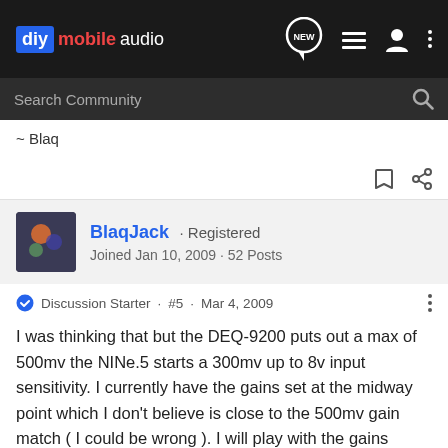diy mobile audio
~ Blaq
BlaqJack · Registered
Joined Jan 10, 2009 · 52 Posts
Discussion Starter · #5 · Mar 4, 2009
I was thinking that but the DEQ-9200 puts out a max of 500mv the NINe.5 starts a 300mv up to 8v input sensitivity. I currently have the gains set at the midway point which I don't believe is close to the 500mv gain match ( I could be wrong ). I will play with the gains some more tonight to see what happens.